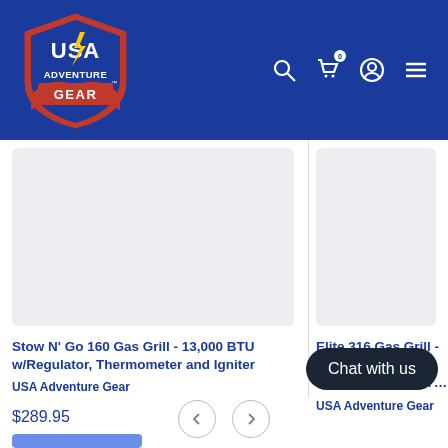[Figure (logo): USA Adventure Gear logo — red shield with white text USA ADVENTURE GEAR and a lightning bolt]
[Figure (infographic): Navigation icons: search (magnifier), cart with badge '0', account (person circle), hamburger menu]
[Figure (photo): Product image placeholder (light gray rectangle) for Stow N Go 160 Gas Grill]
Stow N' Go 160 Gas Grill - 13,000 BTU w/Regulator, Thermometer and Igniter
USA Adventure Gear
$289.95
[Figure (photo): Product image placeholder (light gray rectangle) for Elite 316 Gas Grill]
Elite 316 Gas Grill - Inches of Cooking Folding Legs for T
USA Adventure Gear
Chat with us